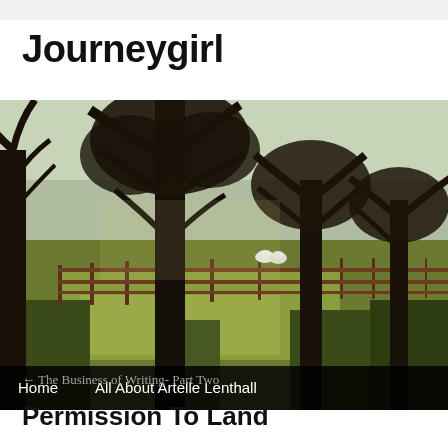Journeygirl
[Figure (photo): Outdoor parkland scene with tall bare deciduous trees in a row, a wooden fence running along a green grassy field, and two white sheep visible in the background on a bright sunny day.]
Home    All About Artelle Lenthall
← The Business of Writing- Part Two
Permission To Land